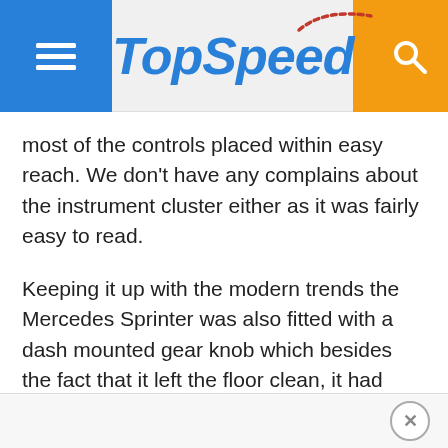TopSpeed
most of the controls placed within easy reach. We don't have any complains about the instrument cluster either as it was fairly easy to read.
Keeping it up with the modern trends the Mercedes Sprinter was also fitted with a dash mounted gear knob which besides the fact that it left the floor clean, it had also an ergonomic design.